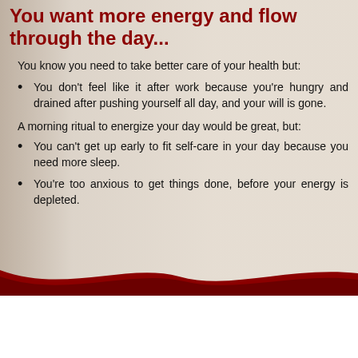You want more energy and flow through the day...
You know you need to take better care of your health but:
You don't feel like it after work because you're hungry and drained after pushing yourself all day, and your will is gone.
A morning ritual to energize your day would be great, but:
You can't get up early to fit self-care in your day because you need more sleep.
You're too anxious to get things done, before your energy is depleted.